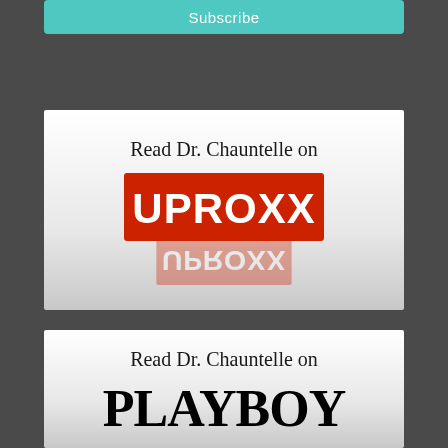[Figure (other): Subscribe button - teal/cyan colored button with white text 'Subscribe']
[Figure (logo): Card with text 'Read Dr. Chauntelle on' above the UPROXX logo (white text on red background) with reflection below]
[Figure (logo): Card with text 'Read Dr. Chauntelle on' above the PLAYBOY logo in bold black text with reflection below, partially cut off]